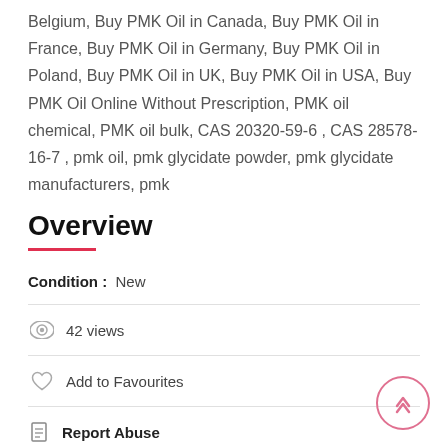Belgium, Buy PMK Oil in Canada, Buy PMK Oil in France, Buy PMK Oil in Germany, Buy PMK Oil in Poland, Buy PMK Oil in UK, Buy PMK Oil in USA, Buy PMK Oil Online Without Prescription, PMK oil chemical, PMK oil bulk, CAS 20320-59-6 , CAS 28578-16-7 , pmk oil, pmk glycidate powder, pmk glycidate manufacturers, pmk
Overview
Condition :  New
42 views
Add to Favourites
Report Abuse